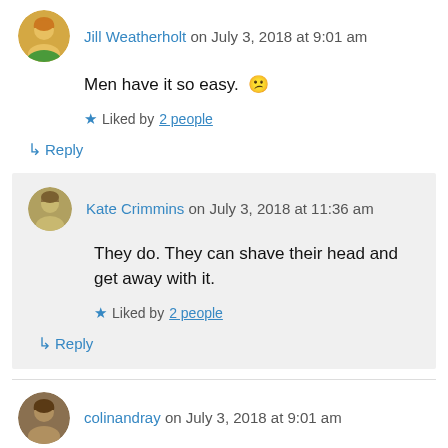Jill Weatherholt on July 3, 2018 at 9:01 am
Men have it so easy. 😕
Liked by 2 people
↳ Reply
Kate Crimmins on July 3, 2018 at 11:36 am
They do. They can shave their head and get away with it.
Liked by 2 people
↳ Reply
colinandray on July 3, 2018 at 9:01 am